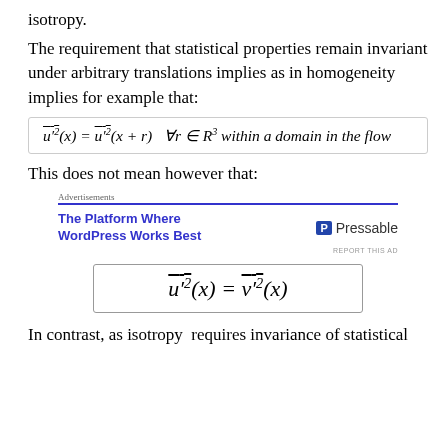isotropy.
The requirement that statistical properties remain invariant under arbitrary translations implies as in homogeneity implies for example that:
This does not mean however that:
[Figure (other): Advertisement: The Platform Where WordPress Works Best — Pressable]
In contrast, as isotropy requires invariance of statistical